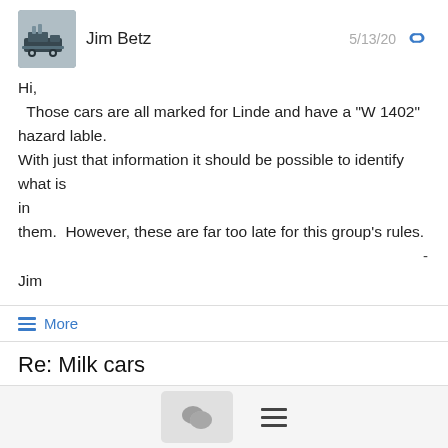Jim Betz
5/13/20
Hi,
  Those cars are all marked for Linde and have a "W 1402" hazard lable.
With just that information it should be possible to identify what is in
them.  However, these are far too late for this group's rules.
-
Jim
≡ More
Re: Milk cars
Donald B. Valentine <riverman_vt@...>
5/12/20
I'm sorry, Roger, but think you're out of luck in finding a model of the